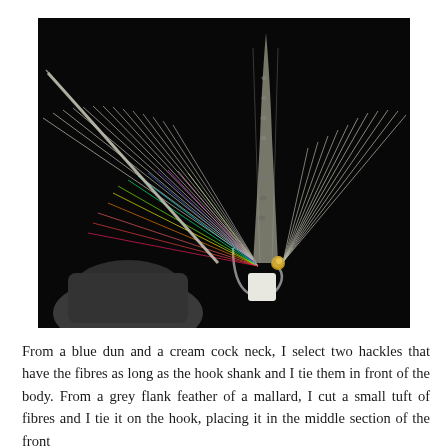[Figure (photo): Close-up photograph of a fly fishing lure (artificial fly) against a black background. The fly features a hook held in a vise, with iridescent multicolored fibres splayed outward, grey hackle feathers, and a tall grey mottled wing made from mallard flank feather standing upright in the center.]
From a blue dun and a cream cock neck, I select two hackles that have the fibres as long as the hook shank and I tie them in front of the body. From a grey flank feather of a mallard, I cut a small tuft of fibres and I tie it on the hook, placing it in the middle section of the front